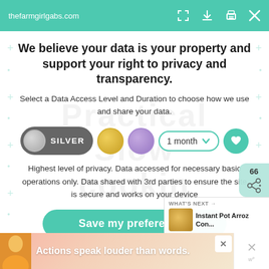[Figure (screenshot): Browser address bar showing thefarmgirlgabs.com with teal background and browser control icons]
We believe your data is your property and support your right to privacy and transparency.
Select a Data Access Level and Duration to choose how we use and share your data.
[Figure (infographic): Privacy level selector: SILVER pill toggle, gold circle, purple circle, 1 month dropdown, and heart button]
Highest level of privacy. Data accessed for necessary basic operations only. Data shared with 3rd parties to ensure the site is secure and works on your device
Save my preferences
[Figure (screenshot): Ad banner: person figure with text 'Actions speak louder than words.' on colorful background with close button]